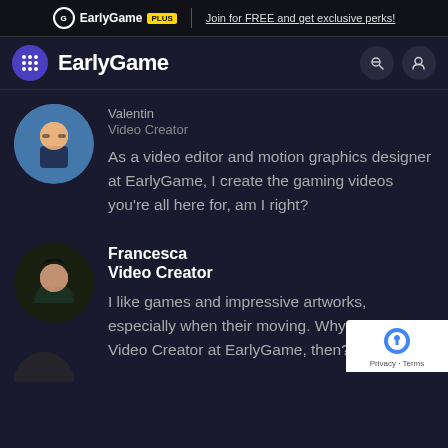EarlyGame PLUS | Join for FREE and get exclusive perks!
EarlyGame
Valentin
Video Creator
As a video editor and motion graphics designer at EarlyGame, I create the gaming videos you're all here for, am I right?
Francesca
Video Creator
I like games and impressive artworks, especially when their moving. Why not being a Video Creator at EarlyGame, then? Oh, I am.